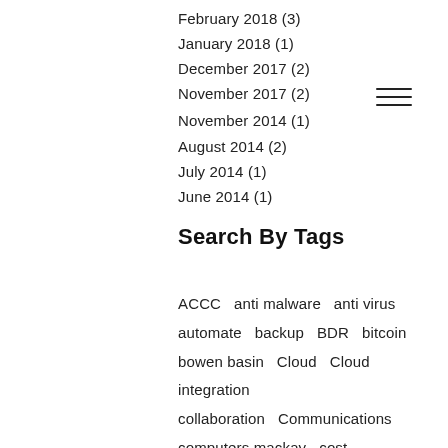February 2018 (3)
January 2018 (1)
December 2017 (2)
November 2017 (2)
November 2014 (1)
August 2014 (2)
July 2014 (1)
June 2014 (1)
Search By Tags
ACCC   anti malware   anti virus   automate   backup   BDR   bitcoin   bowen basin   Cloud   Cloud integration   collaboration   Communications   computers mackay   cost   Cost management   Cost savings   cy'   cybercriminals   Data   Data recovery